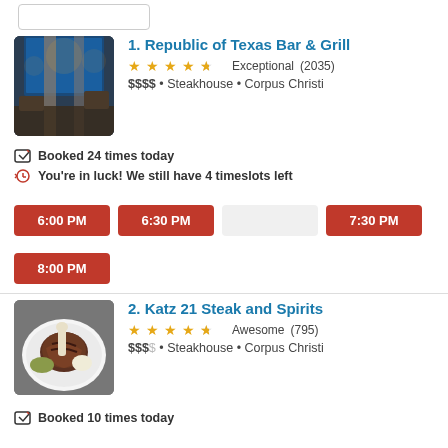[Figure (screenshot): Partial search/filter box at top of page]
1. Republic of Texas Bar & Grill
★★★★½ Exceptional (2035)
$$$$ • Steakhouse • Corpus Christi
[Figure (photo): Interior photo of Republic of Texas Bar & Grill showing restaurant dining area with pillars and city view]
Booked 24 times today
You're in luck! We still have 4 timeslots left
6:00 PM
6:30 PM
7:30 PM
8:00 PM
2. Katz 21 Steak and Spirits
★★★★½ Awesome (795)
$$$$ • Steakhouse • Corpus Christi
[Figure (photo): Photo of a steak dish on a plate with garnish for Katz 21 Steak and Spirits]
Booked 10 times today